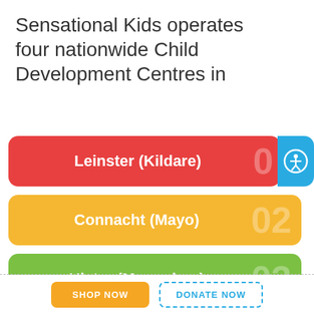Sensational Kids operates four nationwide Child Development Centres in
01 Leinster (Kildare)
02 Connacht (Mayo)
03 Ulster (Monaghan)
04 Munster (West Cork)
SHOP NOW
DONATE NOW